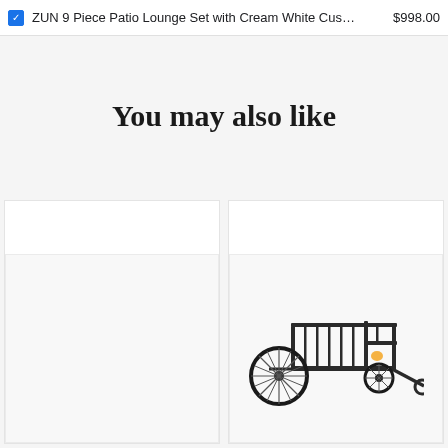ZUN 9 Piece Patio Lounge Set with Cream White Cus…  $998.00
You may also like
[Figure (photo): Left product card — empty white product image placeholder]
[Figure (photo): Right product card — black metal bike cargo trailer with large spoke wheel on left and hitch connector on right]